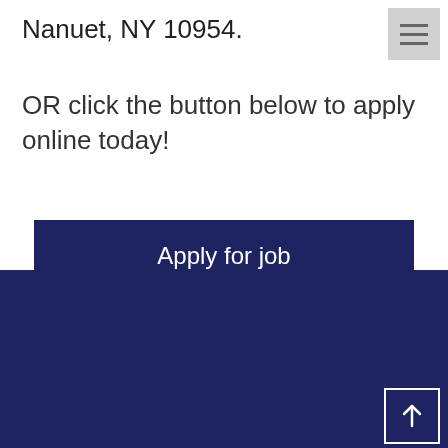Nanuet, NY 10954.
OR click the button below to apply online today!
Apply for job
PROGRAMS & SERVICES
Summer Camp